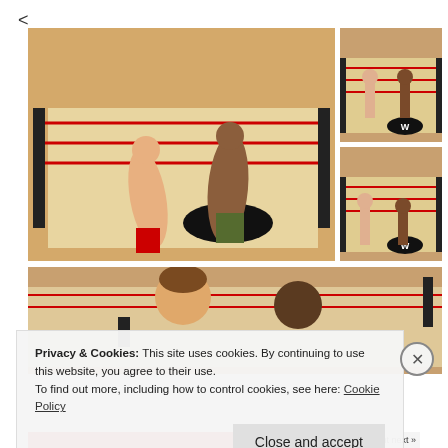<
[Figure (photo): WWE action figures fighting in a toy wrestling ring, two figures punching each other, large main photo]
[Figure (photo): WWE action figures in wrestling ring, top-right smaller photo showing two figures]
[Figure (photo): WWE action figures in wrestling ring, bottom-right smaller photo showing two figures grappling]
[Figure (photo): WWE action figures close-up, two figures facing each other in fighting poses, bottom large photo]
Privacy & Cookies: This site uses cookies. By continuing to use this website, you agree to their use.
To find out more, including how to control cookies, see here: Cookie Policy
Close and accept